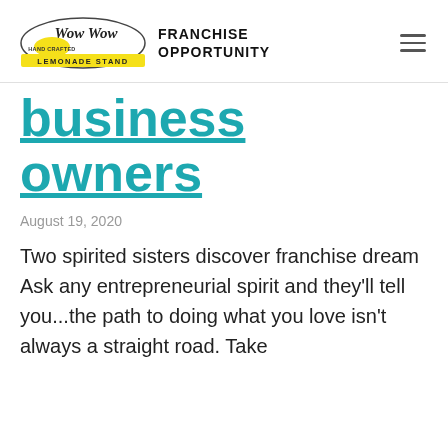Wow Wow Lemonade Stand — FRANCHISE OPPORTUNITY
business owners
August 19, 2020
Two spirited sisters discover franchise dream Ask any entrepreneurial spirit and they'll tell you...the path to doing what you love isn't always a straight road. Take